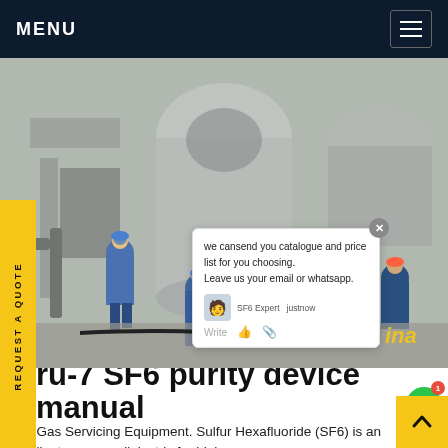MENU
[Figure (photo): Workers in blue hard hats and coveralls working around large industrial SF6 gas equipment on an outdoor industrial site. Several workers visible, large cylindrical tanks and pipes in background.]
REQUEST A QUOTE
we cansend you catalogue and price list for you choosing. Leave us your email or whatsapp.
ru-7 SF6 purity device manual
SF6 Gas Servicing Equipment. Sulfur Hexafluoride (SF6) is an excellent gaseous dielectric for high